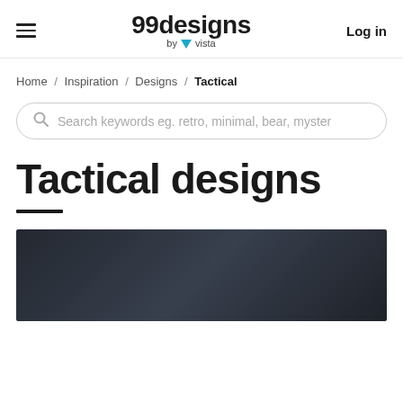99designs by vista | Log in
Home / Inspiration / Designs / Tactical
Search keywords eg. retro, minimal, bear, myster
Tactical designs
[Figure (photo): Dark background preview image of tactical designs]